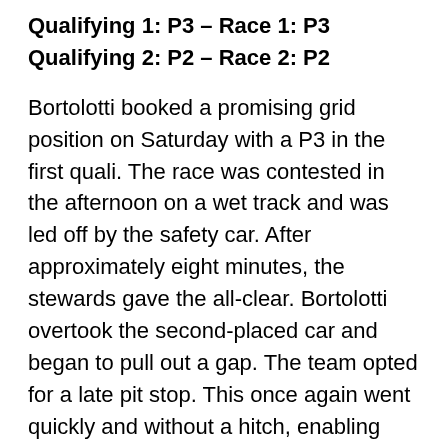Qualifying 1: P3 – Race 1: P3
Qualifying 2: P2 – Race 2: P2
Bortolotti booked a promising grid position on Saturday with a P3 in the first quali. The race was contested in the afternoon on a wet track and was led off by the safety car. After approximately eight minutes, the stewards gave the all-clear. Bortolotti overtook the second-placed car and began to pull out a gap. The team opted for a late pit stop. This once again went quickly and without a hitch, enabling Engelhart to close in on the race leader. However, he now had the third-placed car hot on his heels. A battle for position extending over several laps culminated in a minor collision, and on the final lap, the opponent got the better of Engelhart to drop him down to third at the finish line.
In his qualifying session on Saturday, Engelhart missed